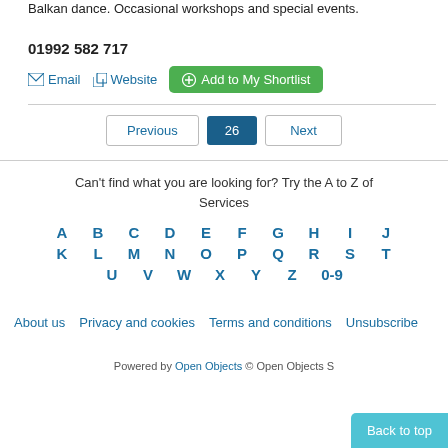Balkan dance. Occasional workshops and special events.
01992 582 717
Email   Website   Add to My Shortlist
Previous  26  Next
Can't find what you are looking for? Try the A to Z of Services
A B C D E F G H I J K L M N O P Q R S T U V W X Y Z 0-9
About us   Privacy and cookies   Terms and conditions   Unsubscribe
Powered by Open Objects © Open Objects S...   Back to top